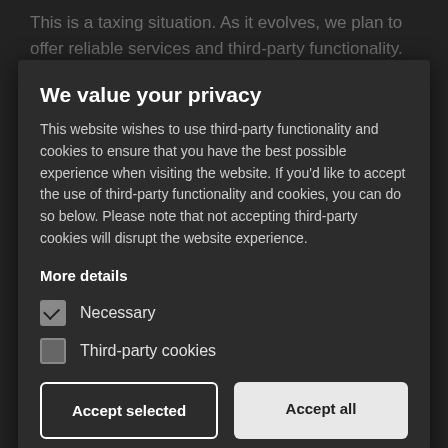This is a taxing situation. As it evolves, we plan to offer reliable services and third-party functionality.
We value your privacy
This website wishes to use third-party functionality and cookies to ensure that you have the best possible experience when visiting the website. If you'd like to accept the use of third-party functionality and cookies, you can do so below. Please note that not accepting third-party cookies will disrupt the website experience.
More details
Necessary
Third-party cookies
Accept selected
Accept all